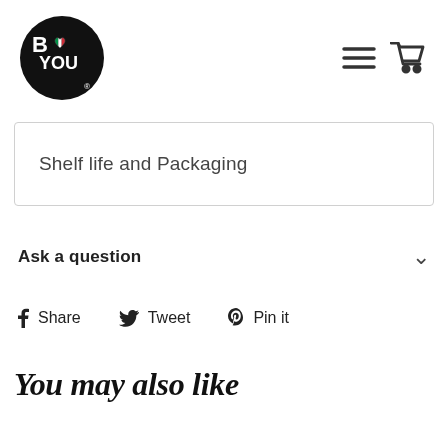[Figure (logo): B YOU brand logo — black circle with white B heart YOU text and Italian flag heart]
Shelf life and Packaging
Ask a question
Share  Tweet  Pin it
You may also like